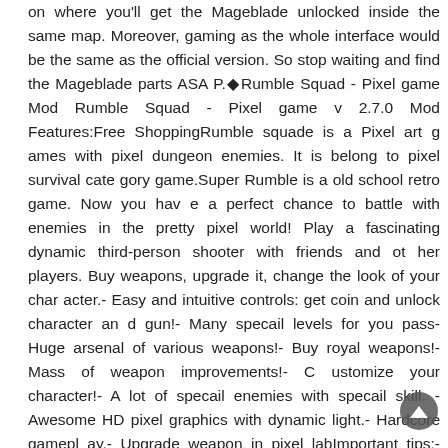on where you'll get the Mageblade unlocked inside the same map. Moreover, gaming as the whole interface would be the same as the official version. So stop waiting and find the Mageblade parts ASAP.◆Rumble Squad - Pixel game Mod Rumble Squad - Pixel game v 2.7.0 Mod Features:Free ShoppingRumble squade is a Pixel art games with pixel dungeon enemies. It is belong to pixel survival category game.Super Rumble is a old school retro game. Now you have a perfect chance to battle with enemies in the pretty pixel world! Play a fascinating dynamic third-person shooter with friends and other players. Buy weapons, upgrade it, change the look of your character.- Easy and intuitive controls: get coin and unlock character and gun!- Many specail levels for you pass- Huge arsenal of various weapons!- Buy royal weapons!- Mass of weapon improvements!- Customize your character!- A lot of specail enemies with specail skill.- Awesome HD pixel graphics with dynamic light.- Hardcore gameplay.- Upgrade weapon in pixel labImportant tips:- Click on box to get gifts every day!- Received coins, open gun are stored on your devic